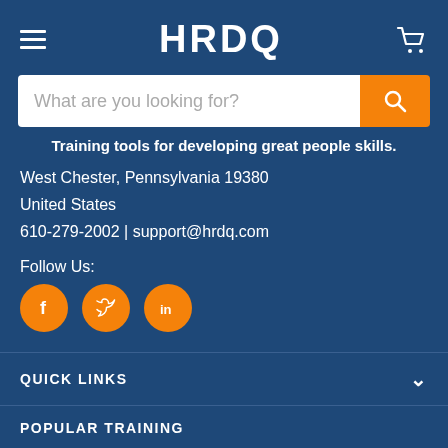HRDQ
[Figure (screenshot): Search bar with placeholder text 'What are you looking for?' and orange search button]
Training tools for developing great people skills.
West Chester, Pennsylvania 19380
United States
610-279-2002 | support@hrdq.com
Follow Us:
[Figure (illustration): Social media icons: Facebook, Twitter, LinkedIn in orange circles]
QUICK LINKS
POPULAR TRAINING